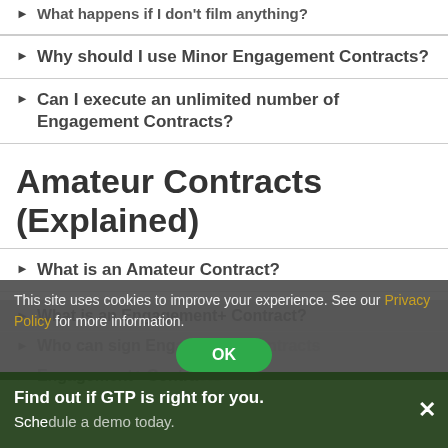Why should I use Minor Engagement Contracts?
Can I execute an unlimited number of Engagement Contracts?
Amateur Contracts (Explained)
What is an Amateur Contract?
Who can sign Amateur Contracts?
Engagement+ Contracts (Explained)
What is an Engagement+ Contract?
Who can sign Engagement Contracts?
Engagement+ Contracts
This site uses cookies to improve your experience. See our Privacy Policy for more information.
Find out if GTP is right for you. Schedule a demo today.